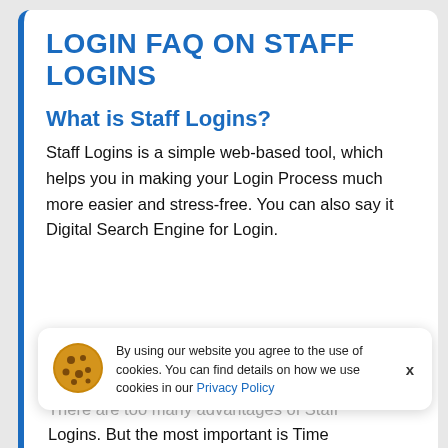LOGIN FAQ ON STAFF LOGINS
What is Staff Logins?
Staff Logins is a simple web-based tool, which helps you in making your Login Process much more easier and stress-free. You can also say it Digital Search Engine for Login.
By using our website you agree to the use of cookies. You can find details on how we use cookies in our Privacy Policy
There are too many advantages of Staff Logins. But the most important is Time